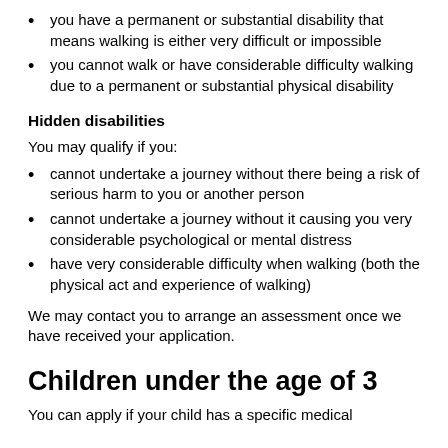you have a permanent or substantial disability that means walking is either very difficult or impossible
you cannot walk or have considerable difficulty walking due to a permanent or substantial physical disability
Hidden disabilities
You may qualify if you:
cannot undertake a journey without there being a risk of serious harm to you or another person
cannot undertake a journey without it causing you very considerable psychological or mental distress
have very considerable difficulty when walking (both the physical act and experience of walking)
We may contact you to arrange an assessment once we have received your application.
Children under the age of 3
You can apply if your child has a specific medical